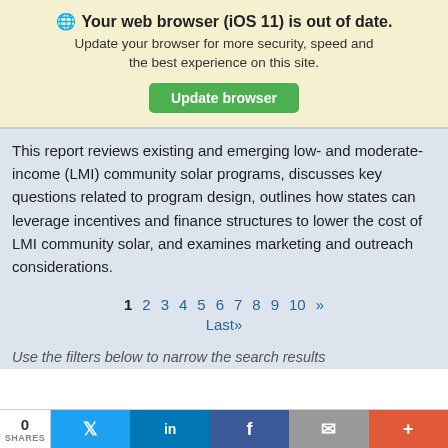[Figure (screenshot): Browser update warning banner with globe icon, bold text 'Your web browser (iOS 11) is out of date.', subtext about updating for security and speed, and a green 'Update browser' button on a light yellow background.]
This report reviews existing and emerging low- and moderate-income (LMI) community solar programs, discusses key questions related to program design, outlines how states can leverage incentives and finance structures to lower the cost of LMI community solar, and examines marketing and outreach considerations.
1 2 3 4 5 6 7 8 9 10 >> Last»
Use the filters below to narrow the search results
[Figure (screenshot): Social share bar at bottom with share count '0 SHARES', Twitter, LinkedIn, Facebook, Email, and More (+) buttons.]